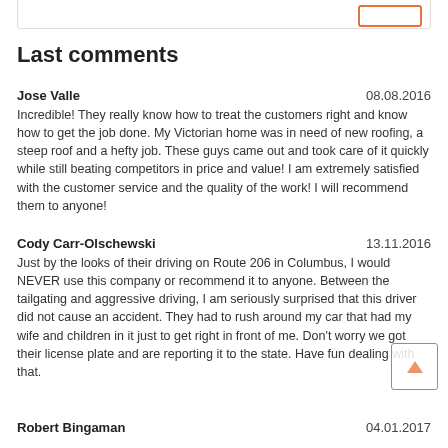Last comments
Jose Valle 08.08.2016
Incredible! They really know how to treat the customers right and know how to get the job done. My Victorian home was in need of new roofing, a steep roof and a hefty job. These guys came out and took care of it quickly while still beating competitors in price and value! I am extremely satisfied with the customer service and the quality of the work! I will recommend them to anyone!
Cody Carr-Olschewski 13.11.2016
Just by the looks of their driving on Route 206 in Columbus, I would NEVER use this company or recommend it to anyone. Between the tailgating and aggressive driving, I am seriously surprised that this driver did not cause an accident. They had to rush around my car that had my wife and children in it just to get right in front of me. Don't worry we got their license plate and are reporting it to the state. Have fun dealing with that.
Robert Bingaman 04.01.2017